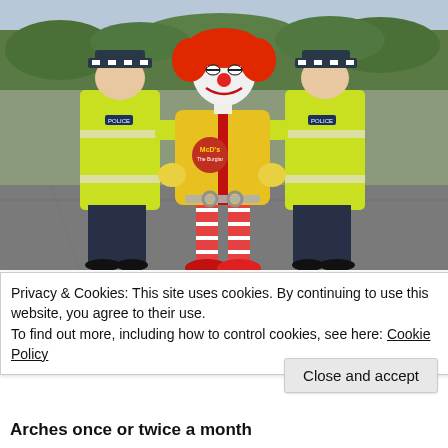[Figure (photo): A person dressed as Ronald McDonald clown (yellow costume, red and white striped leggings, red shoes, red wig, white face paint) being escorted by two police officers wearing high-visibility yellow jackets and dark police hats with chequered bands.]
Privacy & Cookies: This site uses cookies. By continuing to use this website, you agree to their use.
To find out more, including how to control cookies, see here: Cookie Policy
Close and accept
Arches once or twice a month